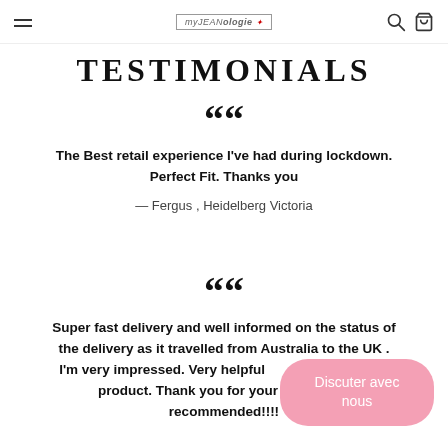myJEANologie [logo] [search] [cart]
TESTIMONIALS
““ The Best retail experience I've had during lockdown. Perfect Fit. Thanks you
— Fergus , Heidelberg Victoria
““ Super fast delivery and well informed on the status of the delivery as it travelled from Australia to the UK . I’m very impressed. Very helpful [obscured] product. Thank you for your h[obscured] recommended!!!!